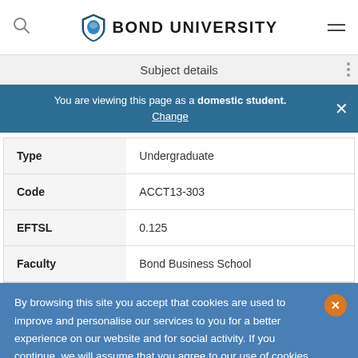BOND UNIVERSITY
Subject details
You are viewing this page as a domestic student. Change
| Field | Value |
| --- | --- |
| Type | Undergraduate |
| Code | ACCT13-303 |
| EFTSL | 0.125 |
| Faculty | Bond Business School |
By browsing this site you accept that cookies are used to improve and personalise our services to you for a better experience on our website and for social activity. If you continue, we will assume that you agree to our use of cookies statement.